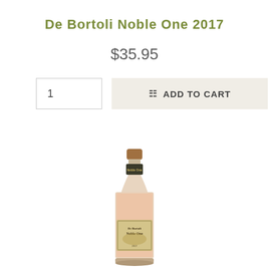De Bortoli Noble One 2017
$35.95
[Figure (illustration): A wine bottle with a cork top, pale pink/rose-colored wine visible through the glass, and a label at the bottom reading 'De Bortoli Noble One'. The bottle has an elegant elongated neck.]